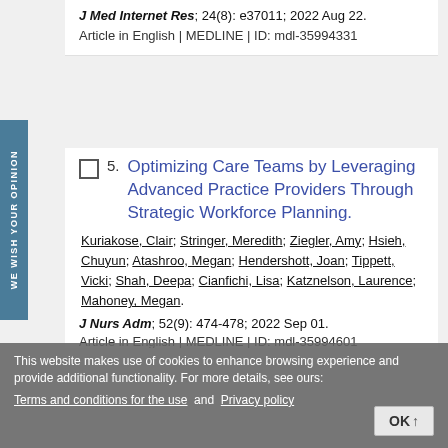J Med Internet Res; 24(8): e37011; 2022 Aug 22. Article in English | MEDLINE | ID: mdl-35994331
5. Optimizing Care Teams by Leveraging Advanced Practice Providers Through Strategic Workforce Planning. Kuriakose, Clair; Stringer, Meredith; Ziegler, Amy; Hsieh, Chuyun; Atashroo, Megan; Hendershott, Joan; Tippett, Vicki; Shah, Deepa; Cianfichi, Lisa; Katznelson, Laurence; Mahoney, Megan. J Nurs Adm; 52(9): 474-478; 2022 Sep 01. Article in English | MEDLINE | ID: mdl-35994601
This website makes use of cookies to enhance browsing experience and provide additional functionality. For more details, see ours: Terms and conditions for the use and Privacy policy